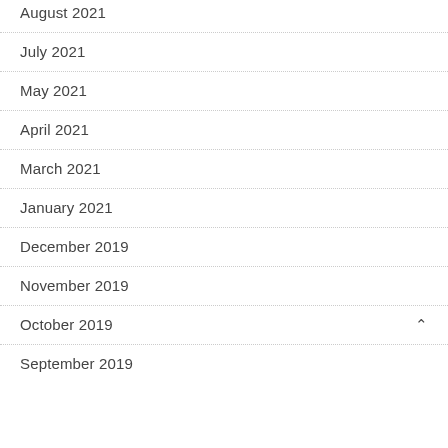August 2021
July 2021
May 2021
April 2021
March 2021
January 2021
December 2019
November 2019
October 2019
September 2019